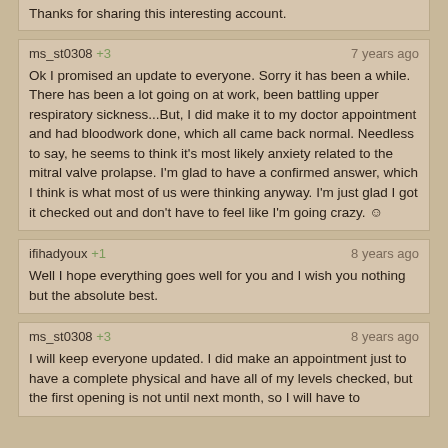Thanks for sharing this interesting account.
ms_st0308 +3 | 7 years ago
Ok I promised an update to everyone. Sorry it has been a while. There has been a lot going on at work, been battling upper respiratory sickness...But, I did make it to my doctor appointment and had bloodwork done, which all came back normal. Needless to say, he seems to think it's most likely anxiety related to the mitral valve prolapse. I'm glad to have a confirmed answer, which I think is what most of us were thinking anyway. I'm just glad I got it checked out and don't have to feel like I'm going crazy. ☺
ifihadyoux +1 | 8 years ago
Well I hope everything goes well for you and I wish you nothing but the absolute best.
ms_st0308 +3 | 8 years ago
I will keep everyone updated. I did make an appointment just to have a complete physical and have all of my levels checked, but the first opening is not until next month, so I will have to